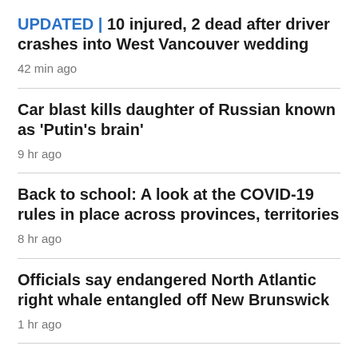UPDATED | 10 injured, 2 dead after driver crashes into West Vancouver wedding
42 min ago
Car blast kills daughter of Russian known as 'Putin's brain'
9 hr ago
Back to school: A look at the COVID-19 rules in place across provinces, territories
8 hr ago
Officials say endangered North Atlantic right whale entangled off New Brunswick
1 hr ago
Stelter says CNN must hold media accountable